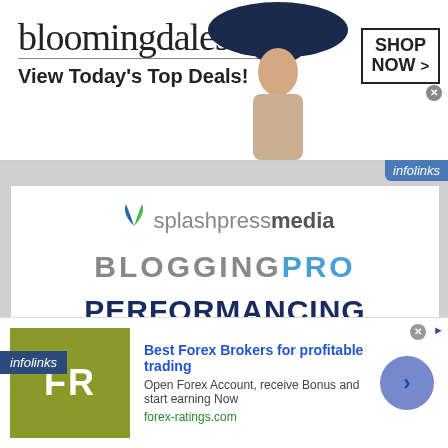[Figure (screenshot): Bloomingdales advertisement banner: logo text 'bloomingdales', tagline 'View Today's Top Deals!', fashion model with hat, 'SHOP NOW >' box]
[Figure (logo): infolinks label top right]
[Figure (logo): splashpress media logo with blue/green leaf icon and text 'splashpress media']
BLOGGINGPRO
PERFORMANCING
the BlogHerald
[Figure (logo): infolinks label bottom left]
[Figure (screenshot): Forex ad: FR logo box, 'Best Forex Brokers for profitable trading', 'Open Forex Account, receive Bonus and start earning Now', 'forex-ratings.com', circle arrow button]